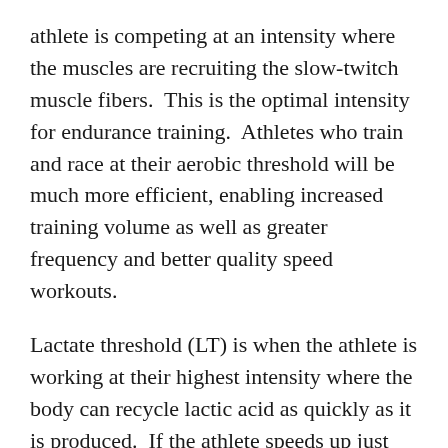athlete is competing at an intensity where the muscles are recruiting the slow-twitch muscle fibers.  This is the optimal intensity for endurance training.  Athletes who train and race at their aerobic threshold will be much more efficient, enabling increased training volume as well as greater frequency and better quality speed workouts.
Lactate threshold (LT) is when the athlete is working at their highest intensity where the body can recycle lactic acid as quickly as it is produced.  If the athlete speeds up just above LT, the athlete can no longer recycle the lactic acid as quickly as it is produced.  This is when lactic acid accumulates and starts to cause muscle fatigue and damage.
VO2 Max is the volume of oxygen that an athlete uses